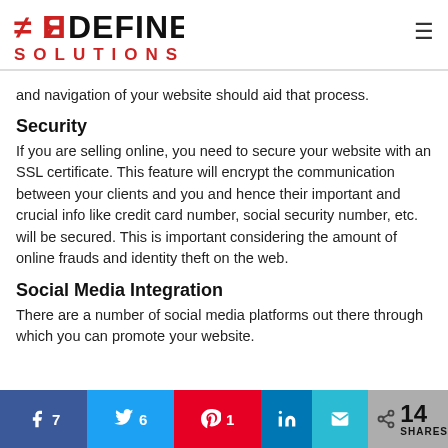[Figure (logo): Redefine Solutions logo — stylized RE icon in red followed by DEFINE in black on top line, SOLUTIONS in red spaced letters below]
and navigation of your website should aid that process.
Security
If you are selling online, you need to secure your website with an SSL certificate. This feature will encrypt the communication between your clients and you and hence their important and crucial info like credit card number, social security number, etc. will be secured. This is important considering the amount of online frauds and identity theft on the web.
Social Media Integration
There are a number of social media platforms out there through which you can promote your website.
Facebook 7 · Twitter 6 · Pinterest 1 · LinkedIn · Email · 14 SHARES